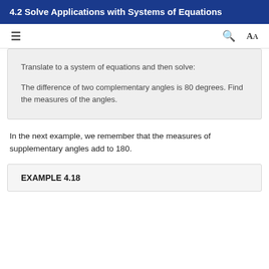4.2 Solve Applications with Systems of Equations
Translate to a system of equations and then solve:

The difference of two complementary angles is 80 degrees. Find the measures of the angles.
In the next example, we remember that the measures of supplementary angles add to 180.
EXAMPLE 4.18